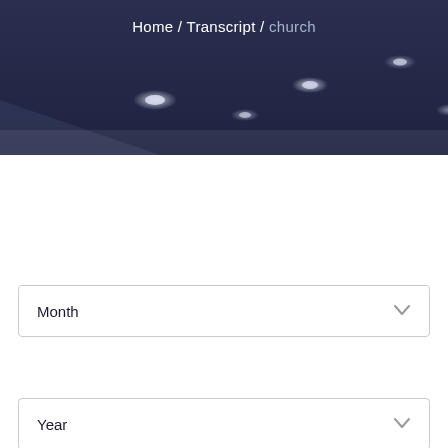[Figure (photo): Dark navy blue ceiling with recessed spotlights/downlights visible, creating a dark atmospheric background for a church or auditorium.]
Home / Transcript / church
Month
Year
All